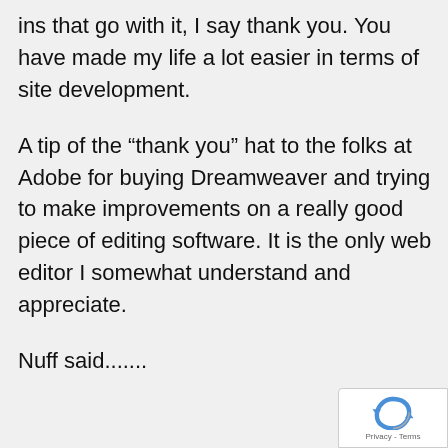ins that go with it, I say thank you. You have made my life a lot easier in terms of site development.
A tip of the “thank you” hat to the folks at Adobe for buying Dreamweaver and trying to make improvements on a really good piece of editing software. It is the only web editor I somewhat understand and appreciate.
Nuff said.......
[Figure (logo): reCAPTCHA badge with Privacy - Terms link in lower right corner]